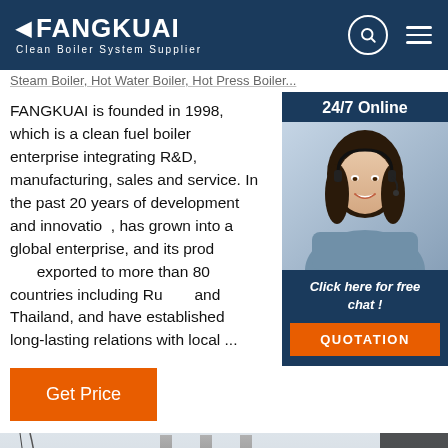FANGKUAI — Clean Boiler System Supplier
Steam Boiler, Hot Water Boiler, Hot Press Boiler ...
FANGKUAI is founded in 1998, which is a clean fuel boiler enterprise integrating R&D, manufacturing, sales and service. In the past 20 years of development and innovation, has grown into a global enterprise, and its products are exported to more than 80 countries including Russia and Thailand, and have established long-lasting relations with local ...
[Figure (photo): 24/7 Online chat panel with female agent wearing headset, smiling. Dark navy background with orange QUOTATION button.]
Get Price
[Figure (photo): Industrial boiler equipment photograph showing pipes, valves, and white cylindrical boiler tank in a factory setting. Orange TOP badge in lower right corner.]